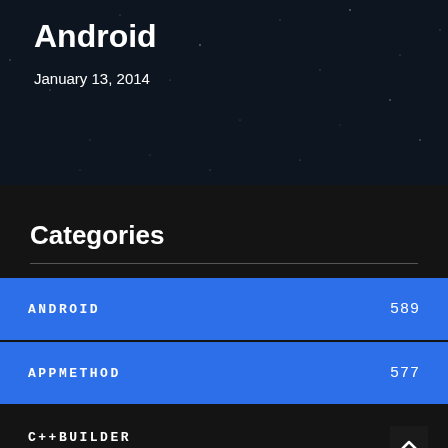[Figure (photo): Dark space/starfield background with title 'Android' in bold white text and date 'January 13, 2014']
Android
January 13, 2014
Categories
ANDROID 589
APPMETHOD 577
C++BUILDER
CODE SNIPPET 241